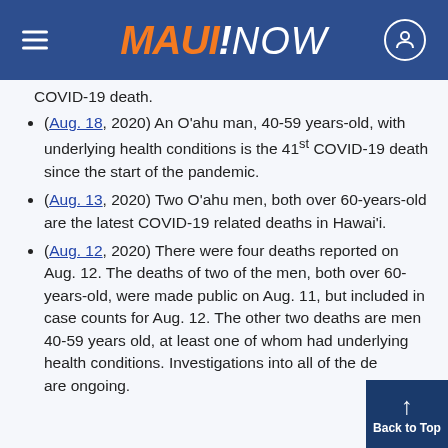MAUI!NOW
COVID-19 death.
(Aug. 18, 2020) An Oʻahu man, 40-59 years-old, with underlying health conditions is the 41st COVID-19 death since the start of the pandemic.
(Aug. 13, 2020) Two Oʻahu men, both over 60-years-old are the latest COVID-19 related deaths in Hawaiʻi.
(Aug. 12, 2020) There were four deaths reported on Aug. 12. The deaths of two of the men, both over 60-years-old, were made public on Aug. 11, but included in case counts for Aug. 12. The other two deaths are men 40-59 years old, at least one of whom had underlying health conditions. Investigations into all of the deaths are ongoing.